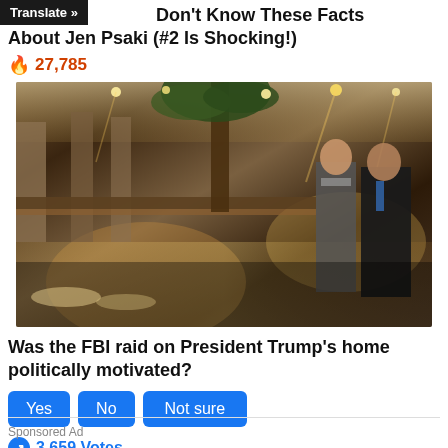Don't Know These Facts About Jen Psaki (#2 Is Shocking!)
27,785
[Figure (photo): Interior photo of Mar-a-Lago estate showing two men in suits standing and conversing in an ornate, warmly lit room with palm trees and chandelier lighting visible in background.]
Was the FBI raid on President Trump's home politically motivated?
Yes | No | Not sure
3,659 Votes
Sponsored Ad